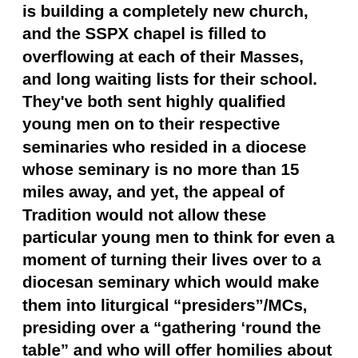is building a completely new church, and the SSPX chapel is filled to overflowing at each of their Masses, and long waiting lists for their school. They've both sent highly qualified young men on to their respective seminaries who resided in a diocese whose seminary is no more than 15 miles away, and yet, the appeal of Tradition would not allow these particular young men to think for even a moment of turning their lives over to a diocesan seminary which would make them into liturgical “presiders”/MCs, presiding over a “gathering ‘round the table” and who will offer homilies about the importance of being “nice”.
Never-the-less, even though far-too-many of his brethren are still in “Crisis? What crisis?!”